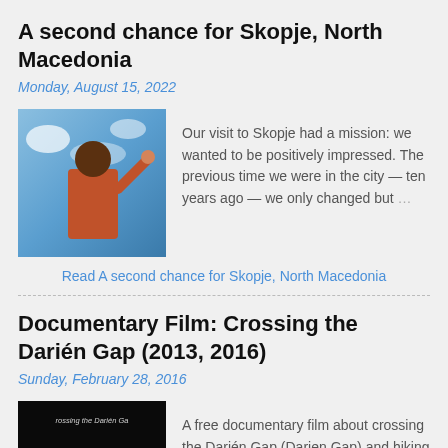A second chance for Skopje, North Macedonia
Monday, August 15, 2022
[Figure (photo): Photo of a person raising their hand in front of a blue sky, taken from below]
Our visit to Skopje had a mission: we wanted to be positively impressed. The previous time we were in the city — ten years ago — we only changed but …
Read A second chance for Skopje, North Macedonia
Documentary Film: Crossing the Darién Gap (2013, 2016)
Sunday, February 28, 2016
[Figure (screenshot): Thumbnail for documentary film 'Crossing the Darien Gap' showing title text and a globe on black background]
A free documentary film about crossing the Darién Gap (Darien Gap) and hiking in the jungle from